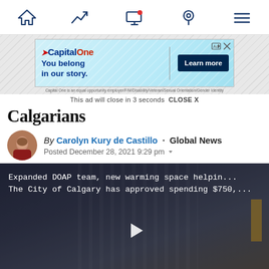Navigation bar with home, trending, screen, location, and menu icons
[Figure (screenshot): Capital One advertisement banner: 'You belong in our story.' with Learn more button. Close bar reads: This ad will close in 3 seconds CLOSE X]
Calgarians
By Carolyn Kury de Castillo · Global News
Posted December 28, 2021 9:29 pm
[Figure (screenshot): Video player showing 'Expanded DOAP team, new warming space helpin... The City of Calgary has approved spending $750,...' with play button overlay on dark background]